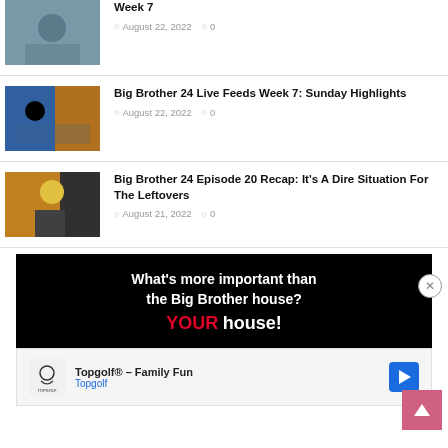[Figure (photo): Thumbnail photo of a person]
Week 7
August 22, 2022  0
[Figure (photo): Thumbnail photo of people at a table with colorful background]
Big Brother 24 Live Feeds Week 7: Sunday Highlights
August 22, 2022  0
[Figure (photo): Thumbnail photo of a woman holding flowers]
Big Brother 24 Episode 20 Recap: It's A Dire Situation For The Leftovers
August 21, 2022  0
[Figure (infographic): Black advertisement banner: What's more important than the Big Brother house? YOUR house!]
[Figure (infographic): Topgolf advertisement: Topgolf® – Family Fun, Topgolf]